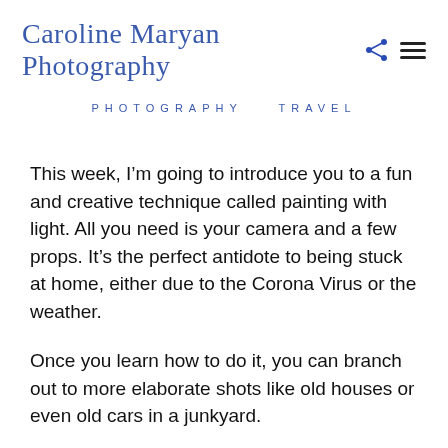Caroline Maryan Photography
PHOTOGRAPHY   TRAVEL
This week, I’m going to introduce you to a fun and creative technique called painting with light. All you need is your camera and a few props. It’s the perfect antidote to being stuck at home, either due to the Corona Virus or the weather.
Once you learn how to do it, you can branch out to more elaborate shots like old houses or even old cars in a junkyard.
But, for this post, we’re going to keep it really simple